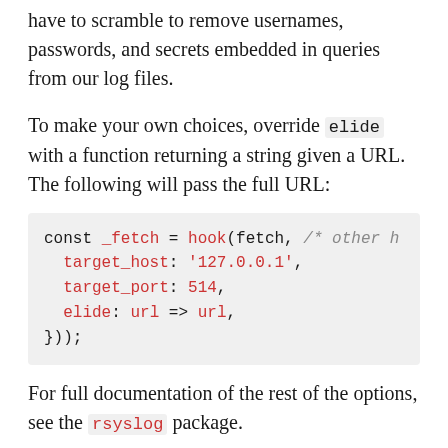have to scramble to remove usernames, passwords, and secrets embedded in queries from our log files.
To make your own choices, override elide with a function returning a string given a URL. The following will pass the full URL:
[Figure (other): Code block showing: const _fetch = hook(fetch, /* other h
  target_host: '127.0.0.1',
  target_port: 514,
  elide: url => url,
}));]
For full documentation of the rest of the options, see the rsyslog package.